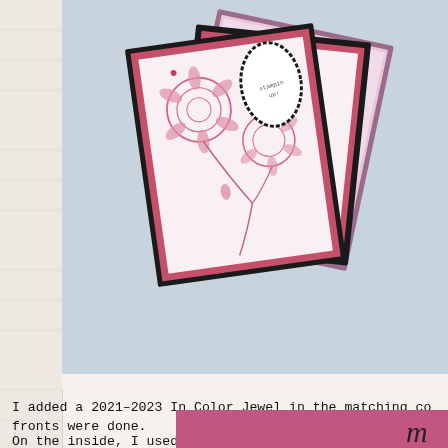[Figure (photo): Handmade greeting cards with pink floral stamped design on white cardstock, layered on dark pink and black mats, arranged diagonally on a light blue-grey background. Cards feature chrysanthemum-style flowers and an oval label frame.]
I added a 2021-2023 In Color Jewel in the matching color fronts were done.
On the inside, I used my Stamparatus again to add the bottom of a Basic White panel.  And I added a second the same color.
[Figure (photo): Partial view of another handmade card with bright pink/magenta color panel, partially visible at bottom of page.]